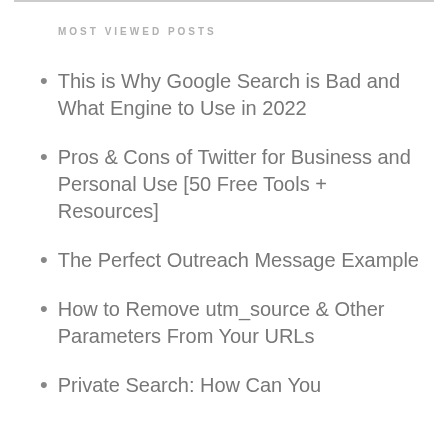MOST VIEWED POSTS
This is Why Google Search is Bad and What Engine to Use in 2022
Pros & Cons of Twitter for Business and Personal Use [50 Free Tools + Resources]
The Perfect Outreach Message Example
How to Remove utm_source & Other Parameters From Your URLs
Private Search: How Can You